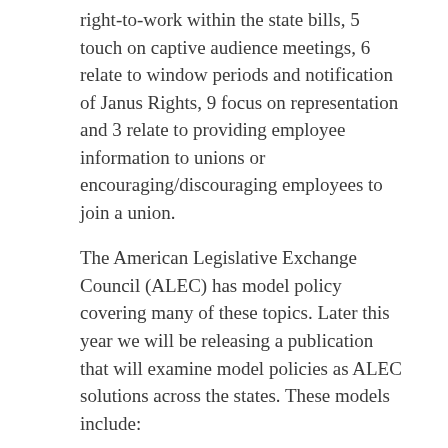right-to-work within the state bills, 5 touch on captive audience meetings, 6 relate to window periods and notification of Janus Rights, 9 focus on representation and 3 relate to providing employee information to unions or encouraging/discouraging employees to join a union.
The American Legislative Exchange Council (ALEC) has model policy covering many of these topics. Later this year we will be releasing a publication that will examine model policies as ALEC solutions across the states. These models include:
Union Financial Responsibility Act: union financial transparency
Prohibition on Paid Union Activity (release time) by Public Employees Act: